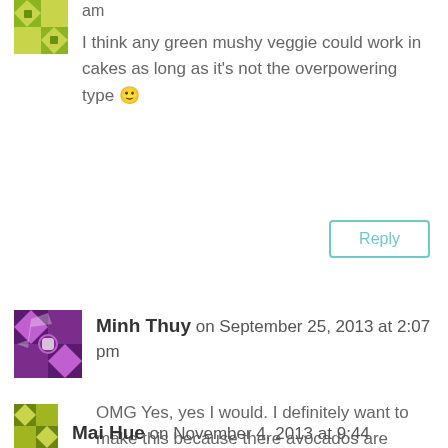am
I think any green mushy veggie could work in cakes as long as it’s not the overpowering type 🙂
Reply
Minh Thuy on September 25, 2013 at 2:07 pm
OMG Yes, yes I would. I definitely want to make this because there avocados are plentiful this season and I’m looking for some cakes which are tasty but also provide nutritional value.
Reply
Mai Hue on November 4, 2013 at 9:44